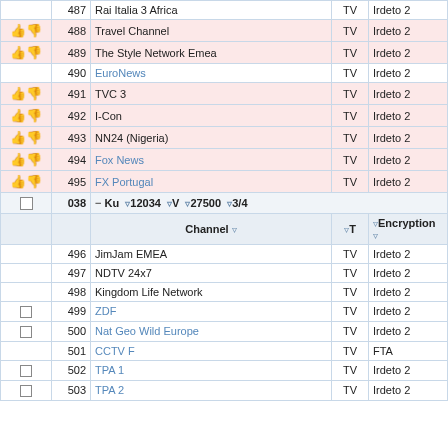|  | # | Channel | T | Encryption |
| --- | --- | --- | --- | --- |
|  | 487 | Rai Italia 3 Africa | TV | Irdeto 2 |
| 👍👎 | 488 | Travel Channel | TV | Irdeto 2 |
| 👍👎 | 489 | The Style Network Emea | TV | Irdeto 2 |
|  | 490 | EuroNews | TV | Irdeto 2 |
| 👍👎 | 491 | TVC 3 | TV | Irdeto 2 |
| 👍👎 | 492 | I-Con | TV | Irdeto 2 |
| 👍👎 | 493 | NN24 (Nigeria) | TV | Irdeto 2 |
| 👍👎 | 494 | Fox News | TV | Irdeto 2 |
| 👍👎 | 495 | FX Portugal | TV | Irdeto 2 |
| 038 - Ku 12034 V 27500 3/4 |  |  |  |  |
|  | Channel | T | Encryption |  |
|  | 496 | JimJam EMEA | TV | Irdeto 2 |
|  | 497 | NDTV 24x7 | TV | Irdeto 2 |
|  | 498 | Kingdom Life Network | TV | Irdeto 2 |
| ☐ | 499 | ZDF | TV | Irdeto 2 |
| ☐ | 500 | Nat Geo Wild Europe | TV | Irdeto 2 |
|  | 501 | CCTV F | TV | FTA |
| ☐ | 502 | TPA 1 | TV | Irdeto 2 |
| ☐ | 503 | TPA 2 | TV | Irdeto 2 |